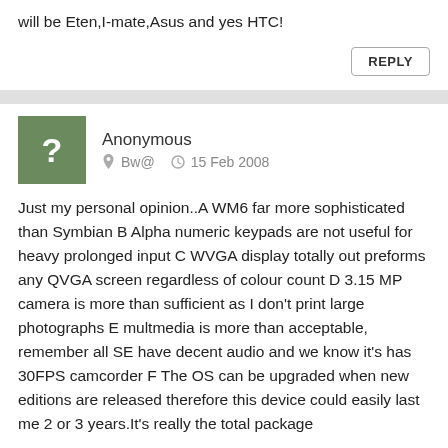will be Eten,I-mate,Asus and yes HTC!
REPLY
Anonymous   Bw@   15 Feb 2008
Just my personal opinion..A WM6 far more sophisticated than Symbian B Alpha numeric keypads are not useful for heavy prolonged input C WVGA display totally out preforms any QVGA screen regardless of colour count D 3.15 MP camera is more than sufficient as I don't print large photographs E multmedia is more than acceptable, remember all SE have decent audio and we know it's has 30FPS camcorder F The OS can be upgraded when new editions are released therefore this device could easily last me 2 or 3 years.It's really the total package
REPLY